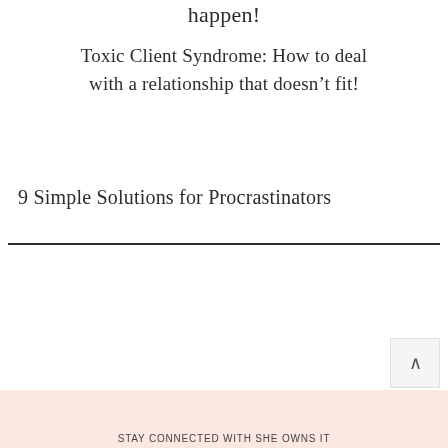happen!
Toxic Client Syndrome: How to deal with a relationship that doesn’t fit!
9 Simple Solutions for Procrastinators
STAY CONNECTED WITH SHE OWNS IT